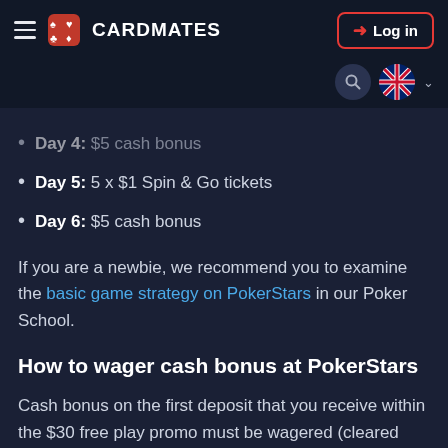CARDMATES — Log in
Day 4: $5 cash bonus
Day 5: 5 x $1 Spin & Go tickets
Day 6: $5 cash bonus
If you are a newbie, we recommend you to examine the basic game strategy on PokerStars in our Poker School.
How to wager cash bonus at PokerStars
Cash bonus on the first deposit that you receive within the $30 free play promo must be wagered (cleared up). For that end, you can play any poker games presented in the room, even place bets in the